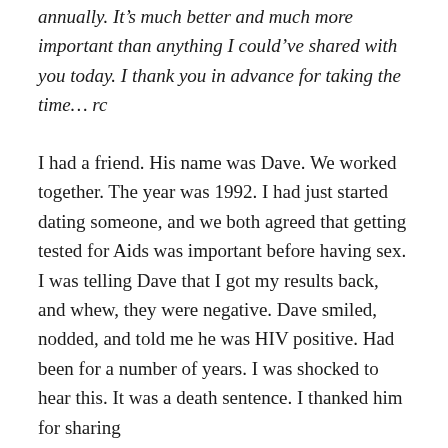annually. It's much better and much more important than anything I could've shared with you today. I thank you in advance for taking the time… rc
I had a friend. His name was Dave. We worked together. The year was 1992. I had just started dating someone, and we both agreed that getting tested for Aids was important before having sex. I was telling Dave that I got my results back, and whew, they were negative. Dave smiled, nodded, and told me he was HIV positive. Had been for a number of years. I was shocked to hear this. It was a death sentence. I thanked him for sharing